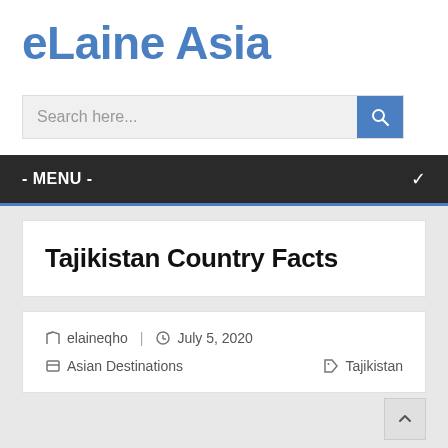eLaine Asia
Search here...
- MENU -
Tajikistan Country Facts
elaineqho  |  July 5, 2020
Asian Destinations    Tajikistan